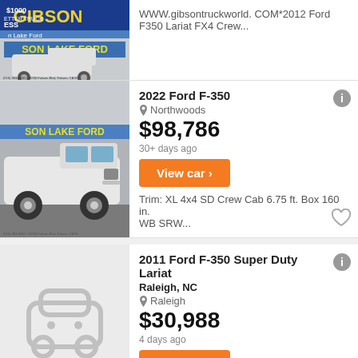WWW.gibsontruckworld. COM*2012 Ford F350 Lariat FX4 Crew...
[Figure (photo): Photo of a white Ford F-350 truck at Gibson Lake Ford dealership]
2022 Ford F-350
Northwoods
$98,786
30+ days ago
View car ›
Trim: XL 4x4 SD Crew Cab 6.75 ft. Box 160 in. WB SRW...
[Figure (photo): Placeholder car icon (no image available) for 2011 Ford F-350 listing]
2011 Ford F-350 Super Duty Lariat
Raleigh, NC
Raleigh
$30,988
4 days ago
View car ›
142,346 Miles | 2011 Year
2017 Ford F-350 Super Duty XL
Brevard, NC